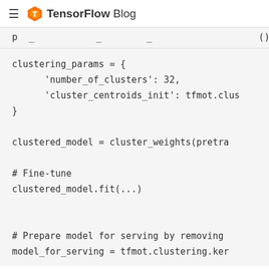TensorFlow Blog
p _ _ ( )
clustering_params = {
    'number_of_clusters': 32,
    'cluster_centroids_init': tfmot.clus
}

clustered_model = cluster_weights(pretra

# Fine-tune
clustered_model.fit(...)


# Prepare model for serving by removing
model_for_serving = tfmot.clustering.ker